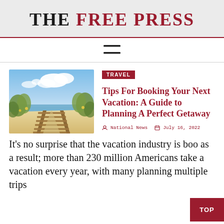THE FREE PRESS
[Figure (illustration): Hamburger menu icon with two horizontal lines]
[Figure (photo): A beach boardwalk path through sea oats and dunes leading to a sunny shoreline with blue sky and clouds]
TRAVEL
Tips For Booking Your Next Vacation: A Guide to Planning A Perfect Getaway
National News   July 16, 2022
It's no surprise that the vacation industry is boo as a result; more than 230 million Americans take a vacation every year, with many planning multiple trips